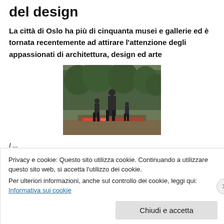del design
La città di Oslo ha più di cinquanta musei e gallerie ed è tornata recentemente ad attirare l'attenzione degli appassionati di architettura, design ed arte
[Figure (photo): Bronze statues of three figures in a park with green trees in the background]
I ... (truncated text partially visible behind cookie banner)
Privacy e cookie: Questo sito utilizza cookie. Continuando a utilizzare questo sito web, si accetta l'utilizzo dei cookie.
Per ulteriori informazioni, anche sul controllo dei cookie, leggi qui:
Informativa sui cookie
Chiudi e accetta